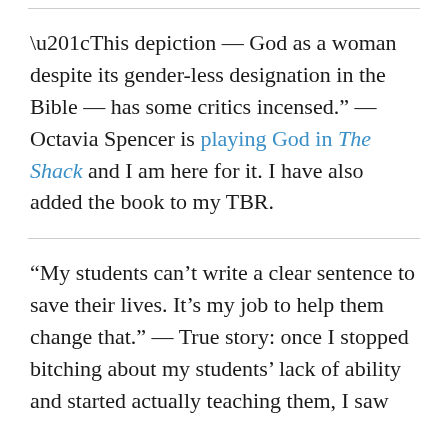“This depiction — God as a woman despite its gender-less designation in the Bible — has some critics incensed.” — Octavia Spencer is playing God in The Shack and I am here for it. I have also added the book to my TBR.
“My students can’t write a clear sentence to save their lives. It’s my job to help them change that.” — True story: once I stopped bitching about my students’ lack of ability and started actually teaching them, I saw